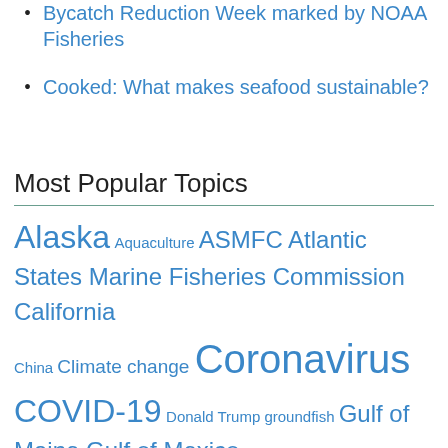Bycatch Reduction Week marked by NOAA Fisheries
Cooked: What makes seafood sustainable?
Most Popular Topics
Alaska Aquaculture ASMFC Atlantic States Marine Fisheries Commission California China Climate change Coronavirus COVID-19 Donald Trump groundfish Gulf of Maine Gulf of Mexico Illegal fishing IUU fishing Lobster Maine Massachusetts Mid-Atlantic National Marine Fisheries Service National Oceanic and